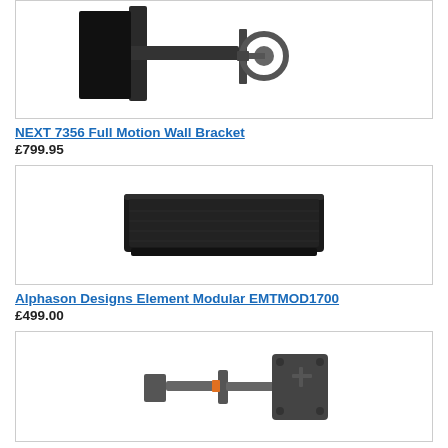[Figure (photo): NEXT 7356 Full Motion Wall Bracket product photo - black wall bracket arm with circular mount]
NEXT 7356 Full Motion Wall Bracket
£799.95
[Figure (photo): Alphason Designs Element Modular EMTMOD1700 product photo - black rectangular soundbar/media unit]
Alphason Designs Element Modular EMTMOD1700
£499.00
[Figure (photo): Wall 3145 product photo - grey/black articulating TV wall bracket with arm and VESA mount]
Wall 3145
£79.95